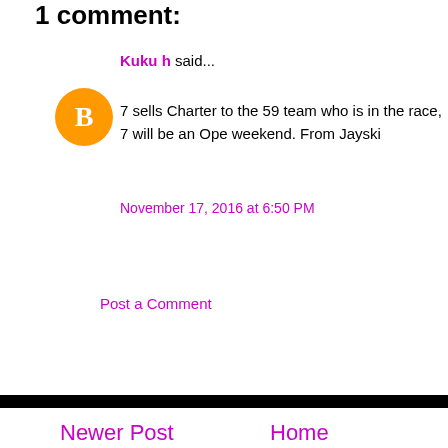1 comment:
Kuku h said...
7 sells Charter to the 59 team who is in the race, 7 will be an Ope weekend. From Jayski
November 17, 2016 at 6:50 PM
Post a Comment
Newer Post
Home
View mobile version
Post Comments (Atom)